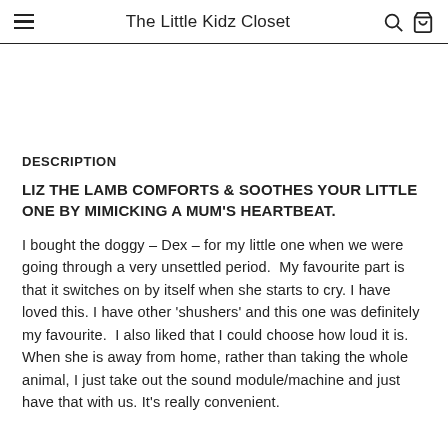The Little Kidz Closet
DESCRIPTION
LIZ THE LAMB COMFORTS & SOOTHES YOUR LITTLE ONE BY MIMICKING A MUM'S HEARTBEAT.
I bought the doggy – Dex – for my little one when we were going through a very unsettled period.  My favourite part is that it switches on by itself when she starts to cry. I have loved this. I have other 'shushers' and this one was definitely my favourite.  I also liked that I could choose how loud it is.  When she is away from home, rather than taking the whole animal, I just take out the sound module/machine and just have that with us. It's really convenient.